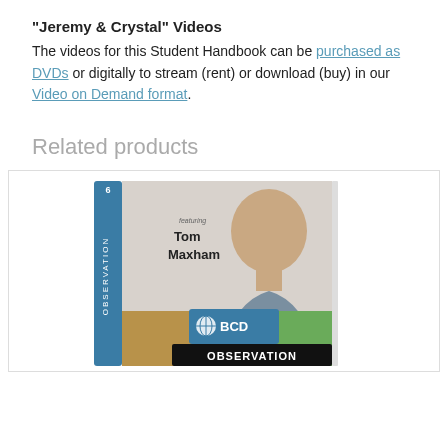"Jeremy & Crystal" Videos
The videos for this Student Handbook can be purchased as DVDs or digitally to stream (rent) or download (buy) in our Video on Demand format.
Related products
[Figure (photo): DVD case for an IBCD Observation video featuring Tom Maxham, showing his photo on the cover with blue IBCD logo and black OBSERVATION label at the bottom.]